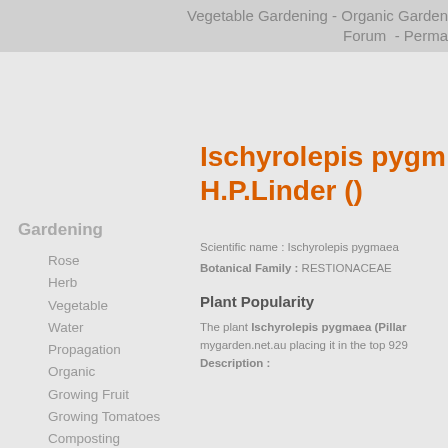Vegetable Gardening - Organic Garden Forum - Perma
Ischyrolepis pygm H.P.Linder ()
Gardening
Rose
Herb
Vegetable
Water
Propagation
Organic
Growing Fruit
Growing Tomatoes
Composting
Soil
All about Sheds
Container
Hydroponics
Flower
Scientific name : Ischyrolepis pygmaea
Botanical Family : RESTIONACEAE
Plant Popularity
The plant Ischyrolepis pygmaea (Pillar mygarden.net.au placing it in the top 929
Description :